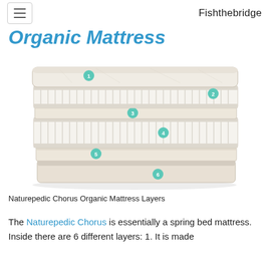Fishthebridge
Organic Mattress
[Figure (illustration): Exploded cross-section diagram of the Naturepedic Chorus Organic Mattress showing 6 labeled layers numbered 1 through 6 from top to bottom. Layer 1: top fabric cover, Layer 2: coil/spring layer on right side, Layer 3: transition layer, Layer 4: innerspring coil layer, Layer 5: base foam layer, Layer 6: bottom foundation/box. Numbered teal circle badges mark each layer.]
Naturepedic Chorus Organic Mattress Layers
The Naturepedic Chorus is essentially a spring bed mattress. Inside there are 6 different layers: 1. It is made